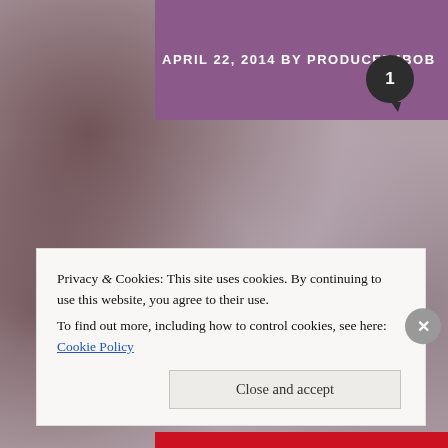[Figure (screenshot): Website screenshot with blurry photo background showing dark reddish tones. Purple header bar at top with white bold text 'APRIL 22, 2014 BY PRODUCER4BOB' and a dark circular comment bubble showing '1'. Two dark circular navigation arrows (left and right) are visible in the middle section. A dark circle with a plus sign appears below. A cookie consent banner overlays the lower portion reading: 'Privacy & Cookies: This site uses cookies. By continuing to use this website, you agree to their use. To find out more, including how to control cookies, see here: Cookie Policy' with a 'Close and accept' button. A red stripe appears at the very bottom.]
APRIL 22, 2014 BY PRODUCER4BOB
Privacy & Cookies: This site uses cookies. By continuing to use this website, you agree to their use.
To find out more, including how to control cookies, see here: Cookie Policy
Close and accept